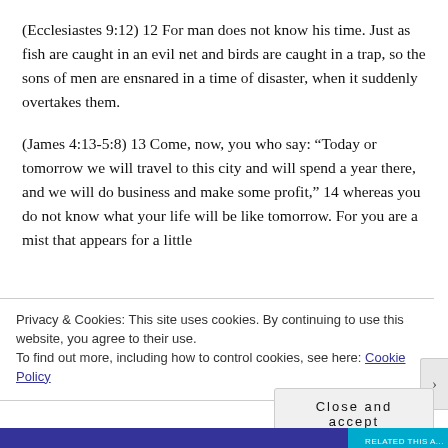(Ecclesiastes 9:12) 12 For man does not know his time. Just as fish are caught in an evil net and birds are caught in a trap, so the sons of men are ensnared in a time of disaster, when it suddenly overtakes them.
(James 4:13-5:8) 13 Come, now, you who say: “Today or tomorrow we will travel to this city and will spend a year there, and we will do business and make some profit,” 14 whereas you do not know what your life will be like tomorrow. For you are a mist that appears for a little
Privacy & Cookies: This site uses cookies. By continuing to use this website, you agree to their use.
To find out more, including how to control cookies, see here: Cookie Policy
Close and accept